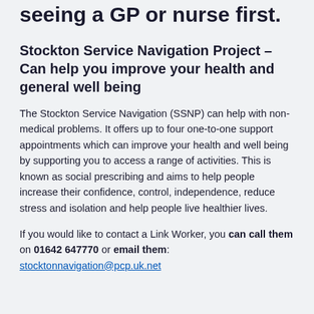seeing a GP or nurse first.
Stockton Service Navigation Project – Can help you improve your health and general well being
The Stockton Service Navigation (SSNP) can help with non-medical problems. It offers up to four one-to-one support appointments which can improve your health and well being by supporting you to access a range of activities. This is known as social prescribing and aims to help people increase their confidence, control, independence, reduce stress and isolation and help people live healthier lives.
If you would like to contact a Link Worker, you can call them on 01642 647770 or email them: stocktonnavigation@pcp.uk.net